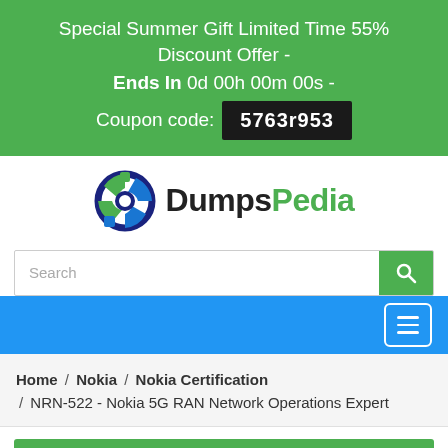Special Summer Gift Limited Time 55% Discount Offer - Ends In 0d 00h 00m 00s - Coupon code: 5763r953
[Figure (logo): DumpsPedia logo with circular globe icon in green and blue]
Search
Home / Nokia / Nokia Certification / NRN-522 - Nokia 5G RAN Network Operations Expert
Top Vendors